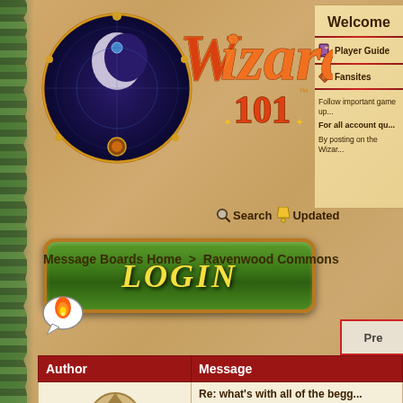[Figure (logo): Wizard101 game logo with stylized text and circular moon/stars emblem in orange and gold on dark blue/purple background]
[Figure (illustration): Green LOGIN button with yellow italic bold text and gold border]
Welcome
Player Guide
Fansites
Follow important game up...
For all account qu...
By posting on the Wizar...
Search   Updated
Message Boards Home  >  Ravenwood Commons
[Figure (illustration): Hot topics speech bubble icon with flame]
[Figure (illustration): Pre button with red border]
| Author | Message |
| --- | --- |
| (avatar image) | Re: what's with all of the begg...

Robobot1747 on M... |
[Figure (illustration): Circular avatar with wizard hat character in beige/brown tones]